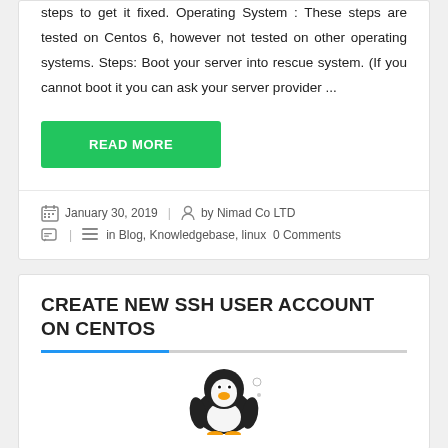steps to get it fixed. Operating System : These steps are tested on Centos 6, however not tested on other operating systems. Steps: Boot your server into rescue system. (If you cannot boot it you can ask your server provider ...
READ MORE
January 30, 2019  |  by Nimad Co LTD  in Blog, Knowledgebase, linux  0 Comments
CREATE NEW SSH USER ACCOUNT ON CENTOS
[Figure (illustration): Linux Tux penguin mascot illustration, partially visible at bottom of card]